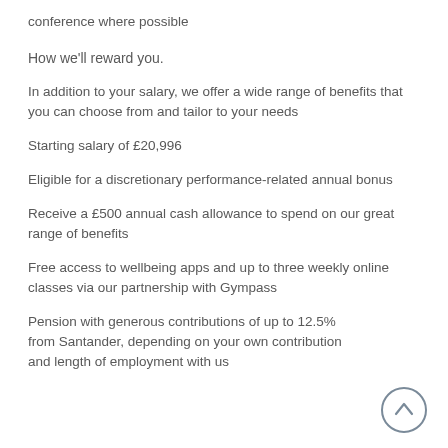conference where possible
How we'll reward you.
In addition to your salary, we offer a wide range of benefits that you can choose from and tailor to your needs
Starting salary of £20,996
Eligible for a discretionary performance-related annual bonus
Receive a £500 annual cash allowance to spend on our great range of benefits
Free access to wellbeing apps and up to three weekly online classes via our partnership with Gympass
Pension with generous contributions of up to 12.5% from Santander, depending on your own contribution and length of employment with us